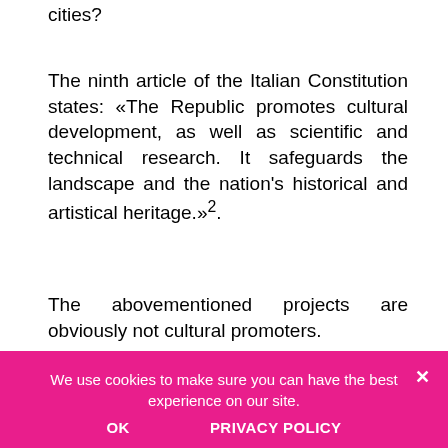cities?
The ninth article of the Italian Constitution states: «The Republic promotes cultural development, as well as scientific and technical research. It safeguards the landscape and the nation's historical and artistical heritage.»².
The abovementioned projects are obviously not cultural promoters.
It is unquestionable that cities need to evolve and to adapt to contemporary reality, because this is necessary for them to survive, otherwise they will become mere touristic attractions for the middle-class. The city needs to... being forced by external... according to its origins, to its citizens, to its economy, only this can ensure their preservation. The historical heritage's safegu...